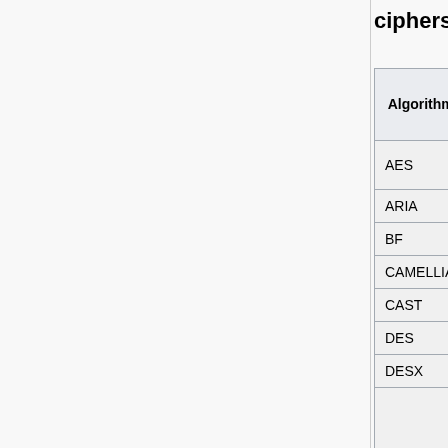ciphers [edit]
| Algorithm | Providers | Code completion % | Docu- comp- |
| --- | --- | --- | --- |
| AES | default, FIPS | 100% | ?? |
| ARIA | default | 100% | ?? |
| BF | legacy | 100% | ?? |
| CAMELLIA | default | 100% | ?? |
| CAST | legacy | 100% | ?? |
| DES | legacy | 100% | ?? |
| DESX | legacy | 100% | ?? |
| DES-EDE3 | default, FIPS | 100% | ?? |
| IDEA | legacy | 100% | ?? |